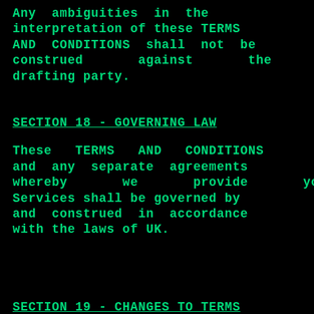Any ambiguities in the interpretation of these TERMS AND CONDITIONS shall not be construed against the drafting party.
SECTION 18 - GOVERNING LAW
These TERMS AND CONDITIONS and any separate agreements whereby we provide you Services shall be governed by and construed in accordance with the laws of UK.
SECTION 19 - CHANGES TO TERMS AND CONDITIONS
We reserve the right to...